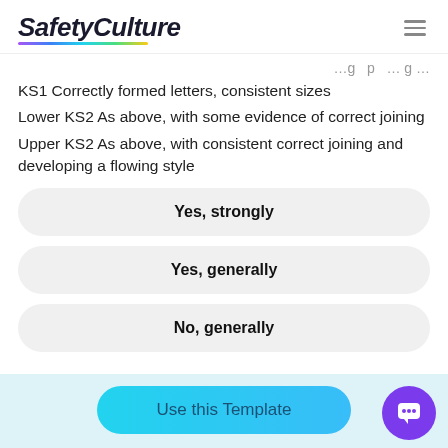SafetyCulture
KS1 Correctly formed letters, consistent sizes
Lower KS2 As above, with some evidence of correct joining
Upper KS2 As above, with consistent correct joining and developing a flowing style
Yes, strongly
Yes, generally
No, generally
Use this Template